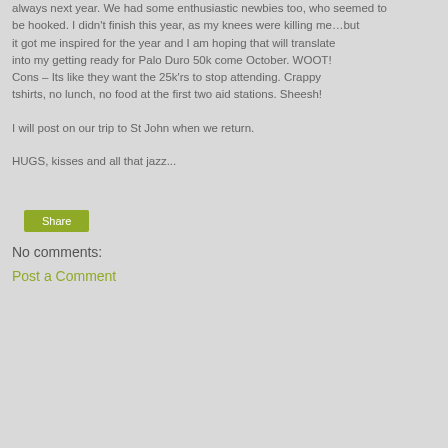always next year. We had some enthusiastic newbies too, who seemed to be hooked. I didn't finish this year, as my knees were killing me…but it got me inspired for the year and I am hoping that will translate into my getting ready for Palo Duro 50k come October. WOOT! Cons – Its like they want the 25k'rs to stop attending. Crappy tshirts, no lunch, no food at the first two aid stations. Sheesh!
I will post on our trip to St John when we return.
HUGS, kisses and all that jazz...
Share
No comments:
Post a Comment